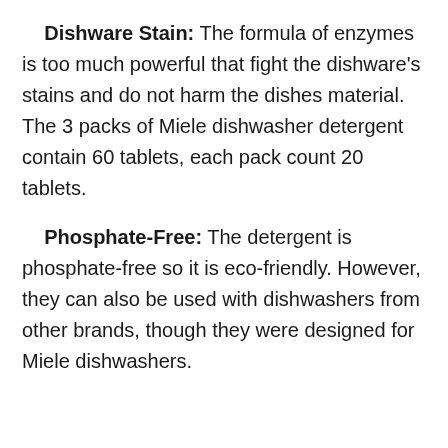Dishware Stain: The formula of enzymes is too much powerful that fight the dishware's stains and do not harm the dishes material. The 3 packs of Miele dishwasher detergent contain 60 tablets, each pack count 20 tablets.
Phosphate-Free: The detergent is phosphate-free so it is eco-friendly. However, they can also be used with dishwashers from other brands, though they were designed for Miele dishwashers.